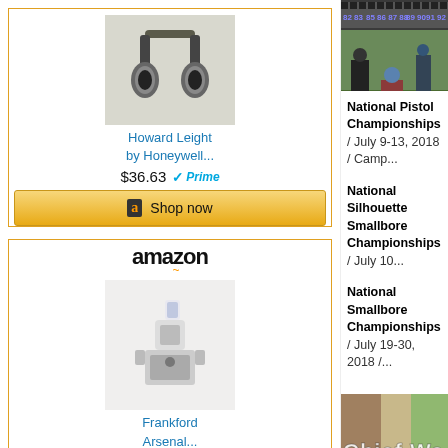[Figure (photo): Amazon ad: Howard Leight by Honeywell electronic ear protection (earmuffs), priced at $36.63 with Prime, Shop now button]
[Figure (photo): Amazon ad: Frankford Arsenal powder measure/scale device]
[Figure (photo): Photo of shooters at a range with numbered target boards (82-96) in the background]
National Pistol Championships / July 9-13, 2018 / Camp...
National Silhouette Smallbore Championships / July 10...
National Smallbore Championships / July 19-30, 2018 /...
[Figure (photo): Photo with text overlay reading 'Chief Wa-Ke'-D...' with nature background]